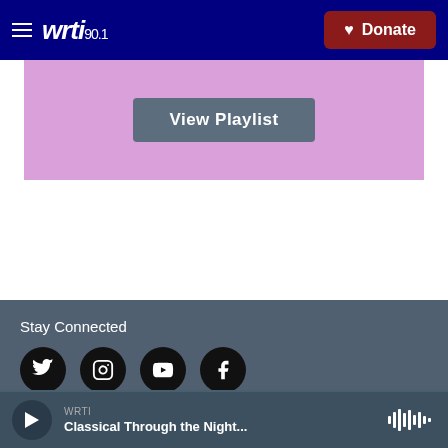WRTI 90.1 — Donate
[Figure (screenshot): Purple banner with View Playlist button]
Stay Connected
[Figure (infographic): Social media icons: Twitter, Instagram, YouTube, Facebook]
© 2022 WRTI
Listen Live
WRTI — Classical Through the Night...